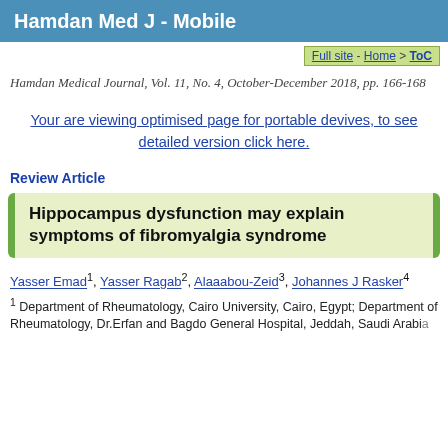Hamdan Med J - Mobile
Full site - Home > ToC
Hamdan Medical Journal, Vol. 11, No. 4, October-December 2018, pp. 166-168
Your are viewing optimised page for portable devives, to see detailed version click here.
Review Article
Hippocampus dysfunction may explain symptoms of fibromyalgia syndrome
Yasser Emad1, Yasser Ragab2, Alaaabou-Zeid3, Johannes J Rasker4
1 Department of Rheumatology, Cairo University, Cairo, Egypt; Department of Rheumatology, Dr.Erfan and Bagdo General Hospital, Jeddah, Saudi Arabia